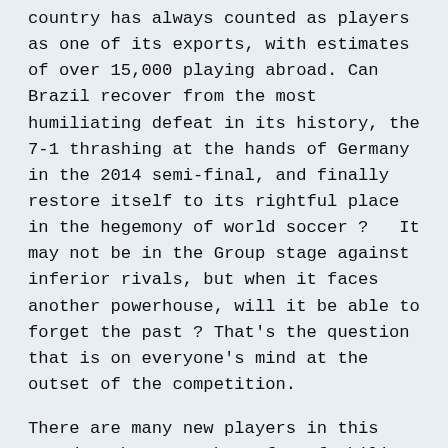country has always counted as players as one of its exports, with estimates of over 15,000 playing abroad. Can Brazil recover from the most humiliating defeat in its history, the 7-1 thrashing at the hands of Germany in the 2014 semi-final, and finally restore itself to its rightful place in the hegemony of world soccer ?  It may not be in the Group stage against inferior rivals, but when it faces another powerhouse, will it be able to forget the past ? That's the question that is on everyone's mind at the outset of the competition.
There are many new players in this squad. I became a huge fan of Philippe Coutinho while he was at Liverpool, mostly impressed by his fine playmaking and his ability to rocket shots from well beyond the 18-yard line. He is the one player that I think will shine in this tournament, my sleeper if you will. Paired with William as the other attacking mid and buttressed by Casemiro and Fernandinho makes this the best...